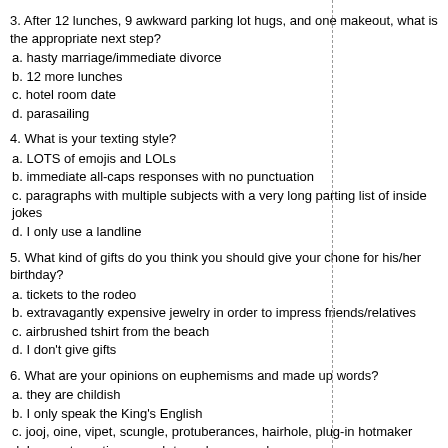3. After 12 lunches, 9 awkward parking lot hugs, and one makeout, what is the appropriate next step?
a. hasty marriage/immediate divorce
b. 12 more lunches
c. hotel room date
d. parasailing
4. What is your texting style?
a. LOTS of emojis and LOLs
b. immediate all-caps responses with no punctuation
c. paragraphs with multiple subjects with a very long parting list of inside jokes
d. I only use a landline
5. What kind of gifts do you think you should give your chone for his/her birthday?
a. tickets to the rodeo
b. extravagantly expensive jewelry in order to impress friends/relatives
c. airbrushed tshirt from the beach
d. I don't give gifts
6. What are your opinions on euphemisms and made up words?
a. they are childish
b. I only speak the King's English
c. jooj, oine, vipet, scungle, protuberances, hairhole, plug-in hotmaker
d. I am not creative enough to make up words
7. Choose the most interesting historical figure.
a. George Washington
b. George W. Bush